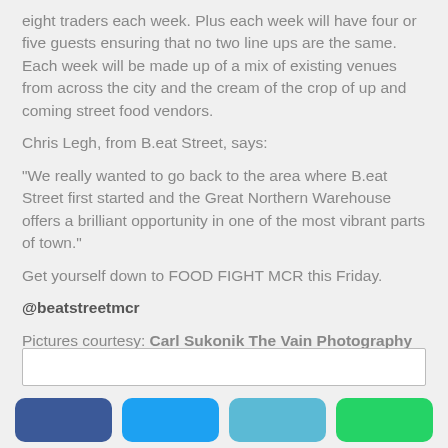eight traders each week. Plus each week will have four or five guests ensuring that no two line ups are the same. Each week will be made up of a mix of existing venues from across the city and the cream of the crop of up and coming street food vendors.
Chris Legh, from B.eat Street, says:
“We really wanted to go back to the area where B.eat Street first started and the Great Northern Warehouse offers a brilliant opportunity in one of the most vibrant parts of town.”
Get yourself down to FOOD FIGHT MCR this Friday.
@beatstreetmcr
Pictures courtesy: Carl Sukonik The Vain Photography